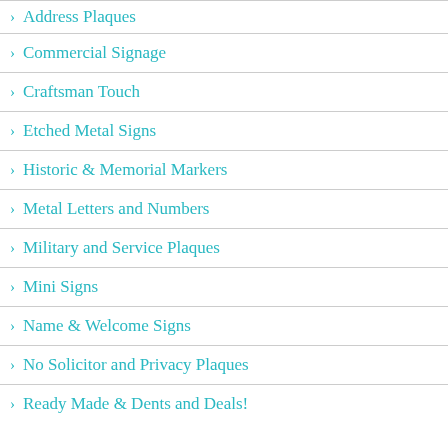Address Plaques
Commercial Signage
Craftsman Touch
Etched Metal Signs
Historic & Memorial Markers
Metal Letters and Numbers
Military and Service Plaques
Mini Signs
Name & Welcome Signs
No Solicitor and Privacy Plaques
Ready Made & Dents and Deals!